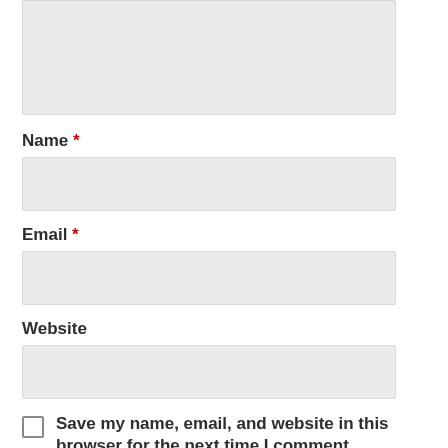[Figure (other): Large textarea input box (gray background, light border)]
Name *
[Figure (other): Name input field (gray background, light border)]
Email *
[Figure (other): Email input field (gray background, light border)]
Website
[Figure (other): Website input field (gray background, light border)]
Save my name, email, and website in this browser for the next time I comment.